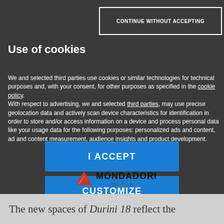CONTINUE WITHOUT ACCEPTING
Use of cookies
We and selected third parties use cookies or similar technologies for technical purposes and, with your consent, for other purposes as specified in the cookie policy.
With respect to advertising, we and selected third parties, may use precise geolocation data and actively scan device characteristics for identification in order to store and/or access information on a device and process personal data like your usage data for the following purposes: personalized ads and content, ad and content measurement, audience insights and product development.
I ACCEPT
CUSTOMIZE
[Figure (logo): Mondadori Media logo with red triangular mountain/M symbol]
The new spaces of Durini 18 reflect the